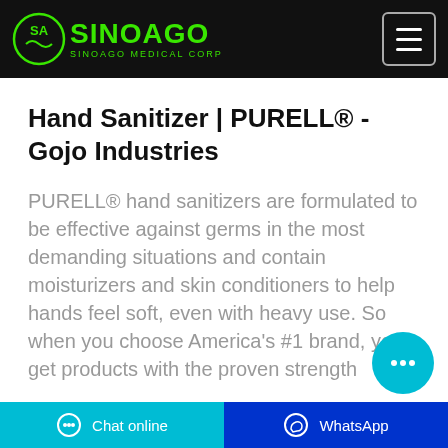SinoAgo Medical Corp
Hand Sanitizer | PURELL® - Gojo Industries
PURELL® hand sanitizers are formulated to be effective against germs in the most demanding situations and contain moisturizers and skin conditioners to help hands feel soft, even with heavy use. So when you choose America's #1 brand, you get products with the proven strength
Chat online   WhatsApp